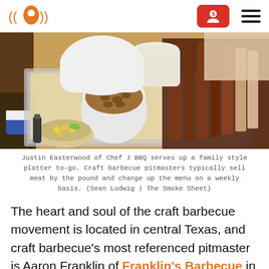Logo and navigation header
[Figure (photo): A person wearing white gloves holds a large aluminum tray of barbecue including brisket, ribs, and turkey slices along with sides including baked beans and coleslaw.]
Justin Easterwood of Chef J BBQ serves up a family style platter to-go. Craft barbecue pitmasters typically sell meat by the pound and change up the menu on a weekly basis. (Sean Ludwig | The Smoke Sheet)
The heart and soul of the craft barbecue movement is located in central Texas, and craft barbecue's most referenced pitmaster is Aaron Franklin of Franklin's Barbecue in Austin, Texas.